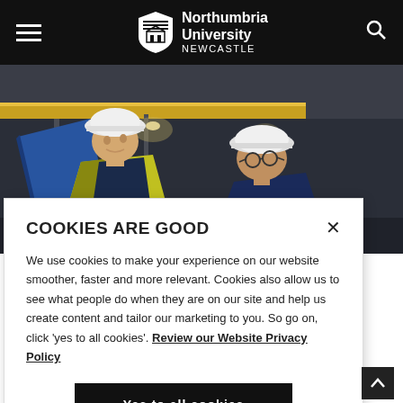Northumbria University NEWCASTLE
[Figure (photo): Two engineers wearing white hard hats and high-visibility jackets in an industrial facility, looking at something together. A yellow overhead crane beam is visible in the background.]
COOKIES ARE GOOD
We use cookies to make your experience on our website smoother, faster and more relevant. Cookies also allow us to see what people do when they are on our site and help us create content and tailor our marketing to you. So go on, click 'yes to all cookies'. Review our Website Privacy Policy
Yes to all cookies